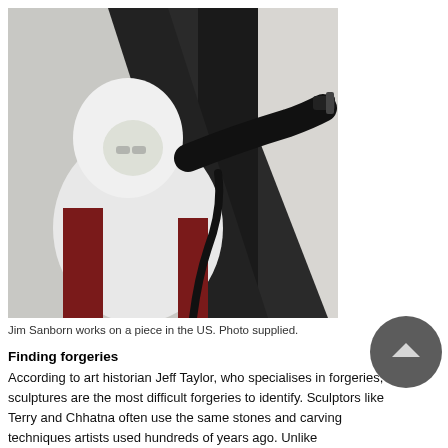[Figure (photo): Jim Sanborn in a white protective suit and black gloves works on a large dark sculpture or artwork, holding a tool up to the surface. Photographed outdoors in the US.]
Jim Sanborn works on a piece in the US. Photo supplied.
Finding forgeries
According to art historian Jeff Taylor, who specialises in forgeries, sculptures are the most difficult forgeries to identify. Sculptors like Terry and Chhatna often use the same stones and carving techniques artists used hundreds of years ago. Unlike